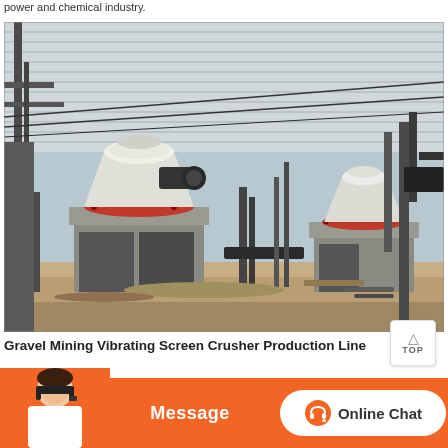power and chemical industry.
[Figure (photo): Industrial cone crusher production line inside a large covered facility. Two cone crushers with white tops and red bolted flanges are mounted on concrete plinths. Steel structural framework, conveyor belts, and machinery visible in background under a corrugated metal roof.]
Gravel Mining Vibrating Screen Crusher Production Line
screen applications. Material quality. Price direct to minimize high...